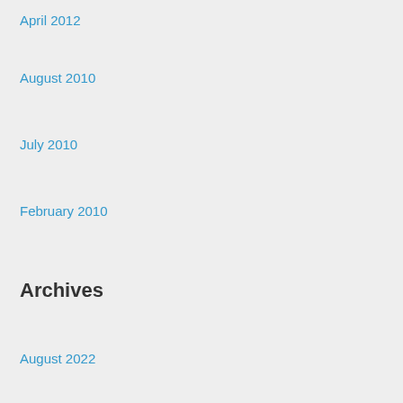April 2012
August 2010
July 2010
February 2010
Archives
August 2022
July 2022
June 2022
May 2022
April 2022
March 2022
February 2022
January 2022